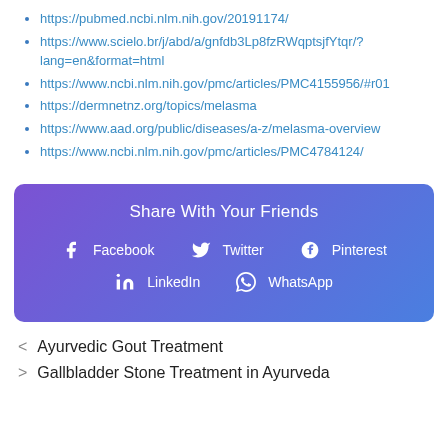https://pubmed.ncbi.nlm.nih.gov/20191174/
https://www.scielo.br/j/abd/a/gnfdb3Lp8fzRWqptsjfYtqr/?lang=en&format=html
https://www.ncbi.nlm.nih.gov/pmc/articles/PMC4155956/#r01
https://dermnetnz.org/topics/melasma
https://www.aad.org/public/diseases/a-z/melasma-overview
https://www.ncbi.nlm.nih.gov/pmc/articles/PMC4784124/
[Figure (infographic): Share With Your Friends social media sharing widget with gradient purple-to-blue background, showing Facebook, Twitter, Pinterest, LinkedIn, and WhatsApp buttons with icons]
< Ayurvedic Gout Treatment
> Gallbladder Stone Treatment in Ayurveda